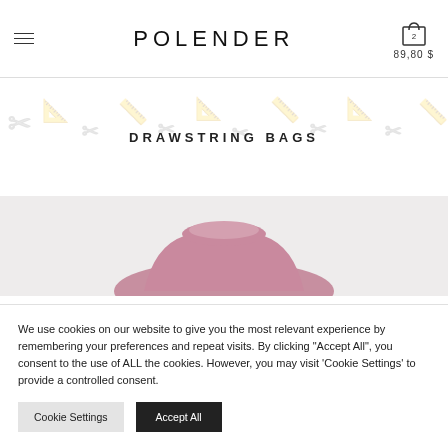POLENDER — 89.80 $
DRAWSTRING BAGS
[Figure (photo): Top portion of a mauve/dusty-pink drawstring bag against a light grey background]
We use cookies on our website to give you the most relevant experience by remembering your preferences and repeat visits. By clicking "Accept All", you consent to the use of ALL the cookies. However, you may visit 'Cookie Settings' to provide a controlled consent.
Cookie Settings | Accept All